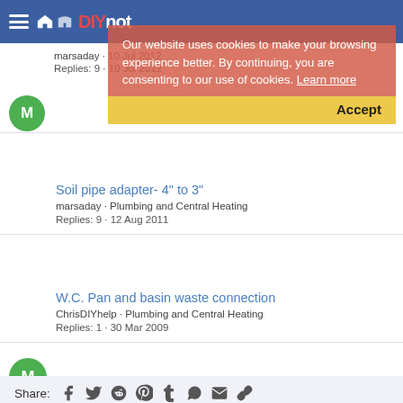DIYnot
Our website uses cookies to make your browsing experience better. By continuing, you are consenting to our use of cookies. Learn more
Accept
marsaday · Replies: 9 · 10 Jul 2012
Soil pipe adapter- 4" to 3"
marsaday · Plumbing and Central Heating
Replies: 9 · 12 Aug 2011
W.C. Pan and basin waste connection
ChrisDIYhelp · Plumbing and Central Heating
Replies: 1 · 30 Mar 2009
Share:
Plumbing and Central Heating
DIYnot  Contact us  Terms and rules  Privacy policy  Help  Home